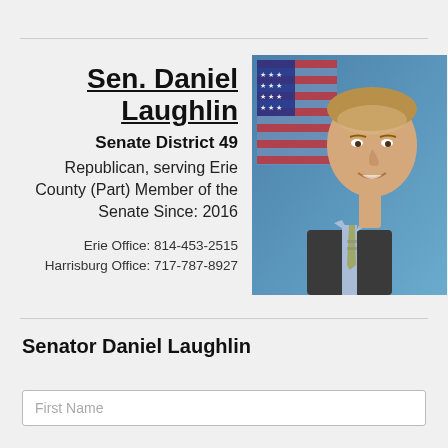Sen. Daniel Laughlin
Senate District 49
Republican, serving Erie County (Part)
Member of the Senate Since: 2016

Erie Office: 814-453-2515
Harrisburg Office: 717-787-8927
[Figure (photo): Official portrait of Senator Daniel Laughlin in a dark suit with light blue shirt and patterned tie, smiling, with an American flag in the background.]
Senator Daniel Laughlin
First Name